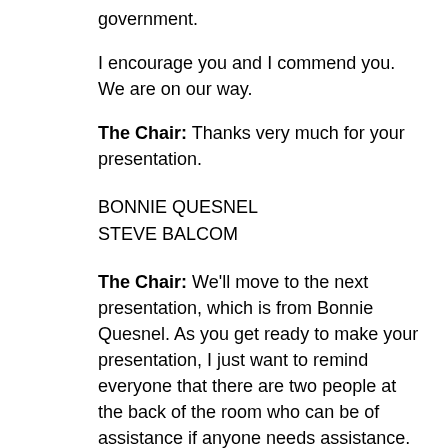government.
I encourage you and I commend you. We are on our way.
The Chair: Thanks very much for your presentation.
BONNIE QUESNEL
STEVE BALCOM
The Chair: We'll move to the next presentation, which is from Bonnie Quesnel. As you get ready to make your presentation, I just want to remind everyone that there are two people at the back of the room who can be of assistance if anyone needs assistance. Also, I would ask that all of you moderate your pace when you make your presentation, so that all the people in attendance are able to understand and appreciate the presentations equally. You have 15 minutes in total to talk to us and allow